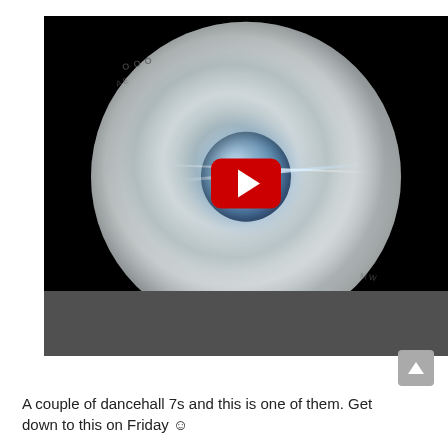[Figure (photo): A YouTube video thumbnail showing a spinning vinyl record closeup with a red YouTube play button overlay in the center. The record shows reflective grooves and a bright light streak. The bottom portion of the thumbnail is a dark gray bar.]
A couple of dancehall 7s and this is one of them. Get down to this on Friday ☺